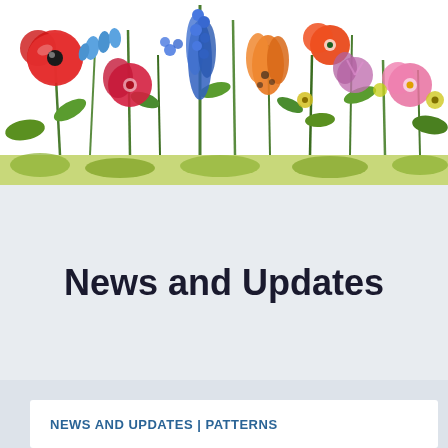[Figure (illustration): Colorful watercolor illustration of a garden flower border featuring red poppies, blue delphiniums, orange tulips, pink daisies, green stems and leaves, rendered in a whimsical hand-painted style across the full width of the page header.]
News and Updates
NEWS AND UPDATES | PATTERNS